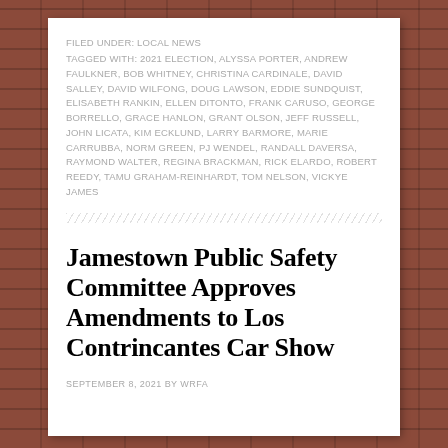FILED UNDER: LOCAL NEWS
TAGGED WITH: 2021 ELECTION, ALYSSA PORTER, ANDREW FAULKNER, BOB WHITNEY, CHRISTINA CARDINALE, DAVID SALLEY, DAVID WILFONG, DOUG LAWSON, EDDIE SUNDQUIST, ELISABETH RANKIN, ELLEN DITONTO, FRANK CARUSO, GEORGE BORRELLO, GRACE HANLON, GRANT OLSON, JEFF RUSSELL, JOHN LICATA, KIM ECKLUND, LARRY BARMORE, MARIE CARRUBBA, NORM GREEN, PJ WENDEL, RANDALL DAVERSA, RAYMOND WALTER, REGINA BRACKMAN, RICK ELARDO, ROBERT REEDY, TAMU GRAHAM-REINHARDT, TOM NELSON, VICKYE JAMES
Jamestown Public Safety Committee Approves Amendments to Los Contrincantes Car Show
SEPTEMBER 8, 2021 BY WRFA